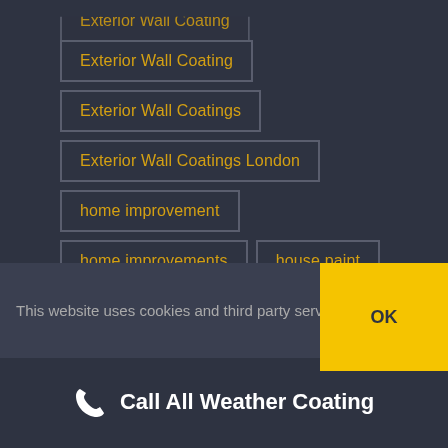Exterior Wall Coating
Exterior Wall Coatings
Exterior Wall Coatings London
home improvement
home improvements
house paint
house painting
house rendering
London Exterior Wall Coatings
London render repair
This website uses cookies and third party services.
OK
Call All Weather Coating